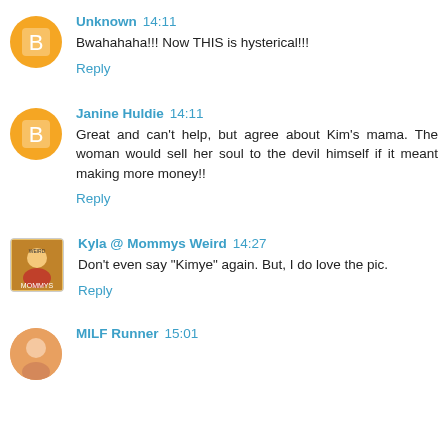Unknown 14:11
Bwahahaha!!! Now THIS is hysterical!!!
Reply
Janine Huldie 14:11
Great and can't help, but agree about Kim's mama. The woman would sell her soul to the devil himself if it meant making more money!!
Reply
Kyla @ Mommys Weird 14:27
Don't even say "Kimye" again. But, I do love the pic.
Reply
MILF Runner 15:01